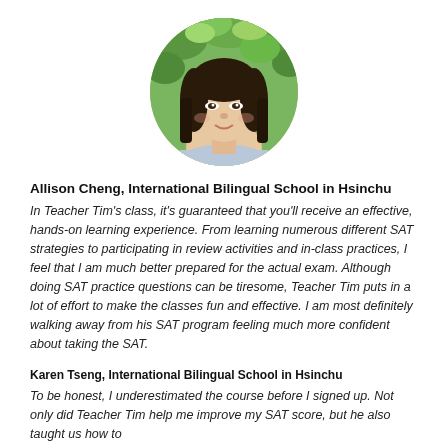[Figure (photo): Circular cropped portrait photo of a young woman with long dark hair, smiling, against a green leafy outdoor background.]
Allison Cheng, International Bilingual School in Hsinchu
In Teacher Tim’s class, it’s guaranteed that you’ll receive an effective, hands-on learning experience. From learning numerous different SAT strategies to participating in review activities and in-class practices, I feel that I am much better prepared for the actual exam. Although doing SAT practice questions can be tiresome, Teacher Tim puts in a lot of effort to make the classes fun and effective. I am most definitely walking away from his SAT program feeling much more confident about taking the SAT.
Karen Tseng, International Bilingual School in Hsinchu
To be honest, I underestimated the course before I signed up. Not only did Teacher Tim help me improve my SAT score, but he also taught us how to